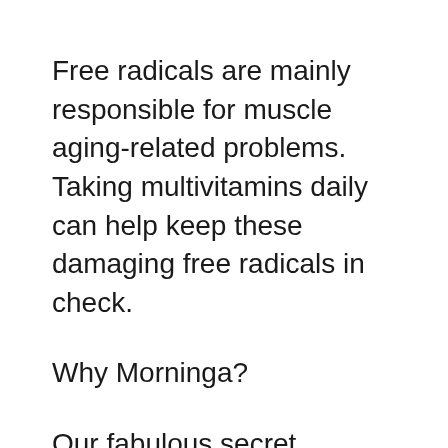Free radicals are mainly responsible for muscle aging-related problems. Taking multivitamins daily can help keep these damaging free radicals in check.
Why Morninga?
Our fabulous secret ingredient is Moringa. This Metabolism super booster can decrease fat formation and improve fat breakdown. The rich mix of vitamins, minerals and fibres